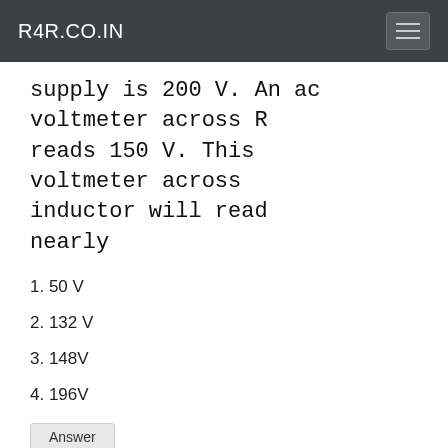R4R.CO.IN
supply is 200 V. An ac voltmeter across R reads 150 V. This voltmeter across inductor will read nearly
1. 50 V
2. 132 V
3. 148V
4. 196V